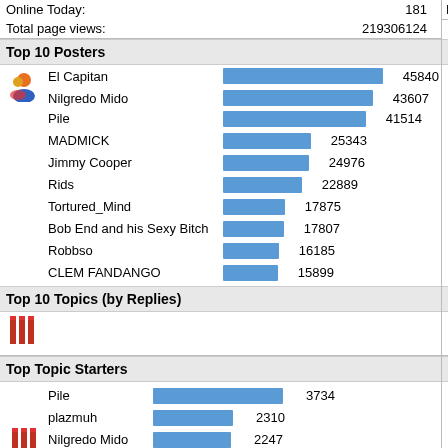Online Today: 181
Total page views: 219306124
Male 1 / Avera
Top 10 Posters
Top 10 Boa...
[Figure (bar-chart): Top 10 Posters]
Come...
Board...
Top 10 Topics (by Replies)
Top 10 Top...
Top Topic Starters
Most Time...
[Figure (bar-chart): Top Topic Starters]
El Ca...
Nilgre...
Dicky2...
Jimmy...
Rids
Tortur...
Robbs...
Pile...